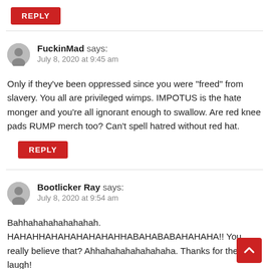REPLY
FuckinMad says:
July 8, 2020 at 9:45 am
Only if they've been oppressed since you were "freed" from slavery. You all are privileged wimps. IMPOTUS is the hate monger and you're all ignorant enough to swallow. Are red knee pads RUMP merch too? Can't spell hatred without red hat.
REPLY
Bootlicker Ray says:
July 8, 2020 at 9:54 am
Bahhahahahahahahah. HAHAHHAHAHAHAHAHAHHABAHABABAHAHAHA!! You really believe that? Ahhahahahahahahaha. Thanks for the laugh!